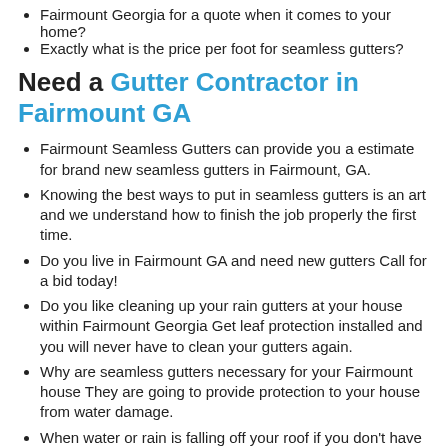Fairmount Georgia for a quote when it comes to your home?
Exactly what is the price per foot for seamless gutters?
Need a Gutter Contractor in Fairmount GA
Fairmount Seamless Gutters can provide you a estimate for brand new seamless gutters in Fairmount, GA.
Knowing the best ways to put in seamless gutters is an art and we understand how to finish the job properly the first time.
Do you live in Fairmount GA and need new gutters Call for a bid today!
Do you like cleaning up your rain gutters at your house within Fairmount Georgia Get leaf protection installed and you will never have to clean your gutters again.
Why are seamless gutters necessary for your Fairmount house They are going to provide protection to your house from water damage.
When water or rain is falling off your roof if you don't have gutters you could eventually have water damage to your foundation.
Did you just relocate into a brand new house close to Fairmount, GA If you need seamless gutters, call us at